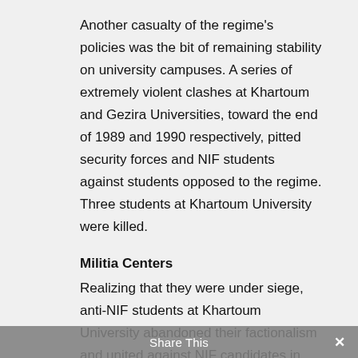Another casualty of the regime's policies was the bit of remaining stability on university campuses. A series of extremely violent clashes at Khartoum and Gezira Universities, toward the end of 1989 and 1990 respectively, pitted security forces and NIF students against students opposed to the regime. Three students at Khartoum University were killed.
Militia Centers
Realizing that they were under siege, anti-NIF students at Khartoum University abandoned their factionalism and united against NIF candidates in the Students's Union election held around the end of 1990. These elections are usually followed with a great deal of interest on
Share This ×